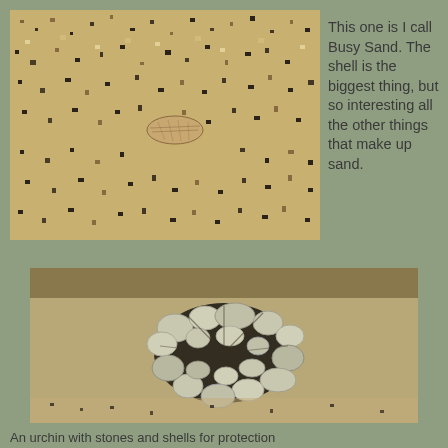[Figure (photo): Close-up macro photograph of busy sand with various grains, pebbles, and a small shell visible in the center]
This one is I call Busy Sand. The shell is the biggest thing, but so interesting all the other things that make up sand.
[Figure (photo): Close-up photograph of a sea urchin covered with stones and shells for protection, set against a sandy background]
An urchin with stones and shells for protection